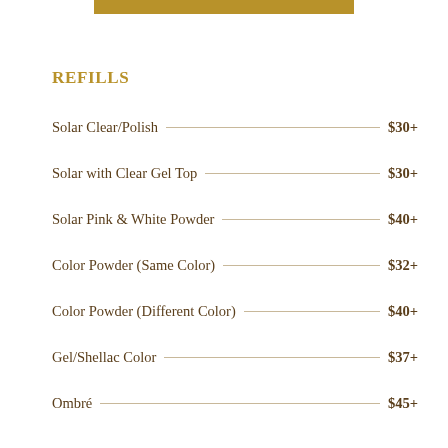[Figure (other): Gold horizontal decorative bar at top center]
REFILLS
Solar Clear/Polish — $30+
Solar with Clear Gel Top — $30+
Solar Pink & White Powder — $40+
Color Powder (Same Color) — $32+
Color Powder (Different Color) — $40+
Gel/Shellac Color — $37+
Ombré — $45+